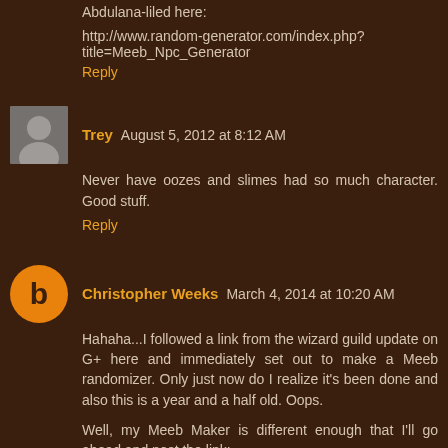Abdulana-liled here:
http://www.random-generator.com/index.php?title=Meeb_Npc_Generator
Reply
Trey  August 5, 2012 at 8:12 AM
Never have oozes and slimes had so much character. Good stuff.
Reply
Christopher Weeks  March 4, 2014 at 10:20 AM
Hahaha...I followed a link from the wizard guild update on G+ here and immediately set out to make a Meeb randomizer. Only just now do I realize it's been done and also this is a year and a half old. Oops.
Well, my Meeb Maker is different enough that I'll go ahead and post the link: